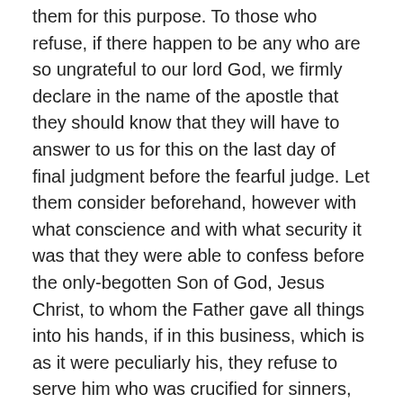them for this purpose. To those who refuse, if there happen to be any who are so ungrateful to our lord God, we firmly declare in the name of the apostle that they should know that they will have to answer to us for this on the last day of final judgment before the fearful judge. Let them consider beforehand, however with what conscience and with what security it was that they were able to confess before the only-begotten Son of God, Jesus Christ, to whom the Father gave all things into his hands, if in this business, which is as it were peculiarly his, they refuse to serve him who was crucified for sinners, by whose beneficence they are sustained and indeed by whose blood they have been redeemed.
Lest we appear to be laying on men's shoulders heavy and unbearable burdens which we are not willing to lighten, like those who say yes but do nothing behold we, from what we have been able to save over and above